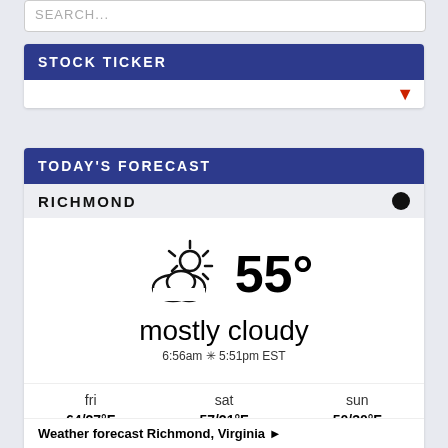SEARCH...
STOCK TICKER
TODAY'S FORECAST
RICHMOND
[Figure (illustration): Partly cloudy weather icon with temperature 55 degrees]
mostly cloudy
6:56am ☼ 5:51pm EST
| fri | sat | sun |
| --- | --- | --- |
| 64/27°F | 57/21°F | 50/30°F |
| partly cloudy icon | sunny icon | sunny icon |
Weather forecast Richmond, Virginia ▶